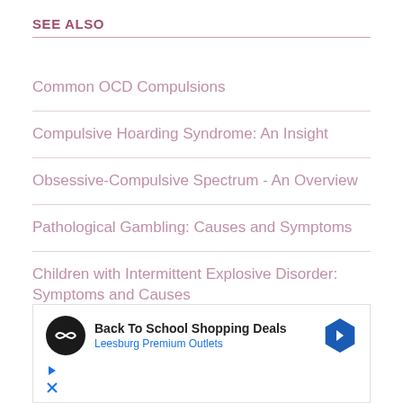SEE ALSO
Common OCD Compulsions
Compulsive Hoarding Syndrome: An Insight
Obsessive-Compulsive Spectrum - An Overview
Pathological Gambling: Causes and Symptoms
Children with Intermittent Explosive Disorder: Symptoms and Causes
[Figure (screenshot): Advertisement banner: Back To School Shopping Deals - Leesburg Premium Outlets, with logo, navigation arrow icon, play and close controls]